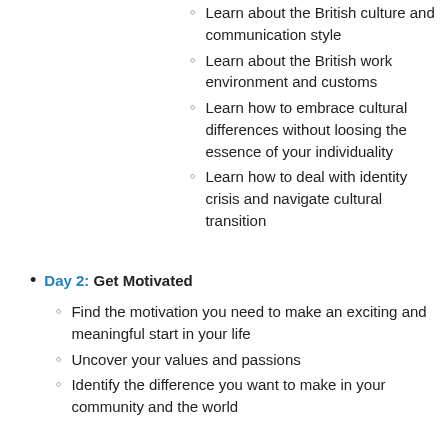Learn about the British culture and communication style
Learn about the British work environment and customs
Learn how to embrace cultural differences without loosing the essence of your individuality
Learn how to deal with identity crisis and navigate cultural transition
Day 2: Get Motivated
Find the motivation you need to make an exciting and meaningful start in your life
Uncover your values and passions
Identify the difference you want to make in your community and the world